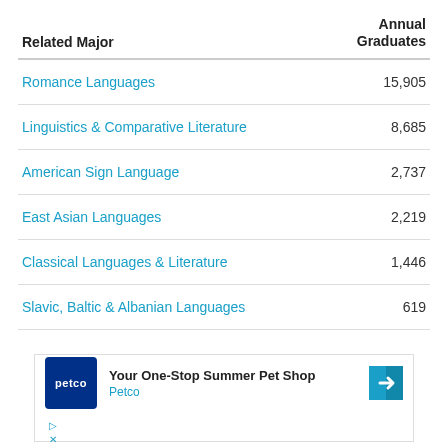| Related Major | Annual
Graduates |
| --- | --- |
| Romance Languages | 15,905 |
| Linguistics & Comparative Literature | 8,685 |
| American Sign Language | 2,737 |
| East Asian Languages | 2,219 |
| Classical Languages & Literature | 1,446 |
| Slavic, Baltic & Albanian Languages | 619 |
[Figure (other): Petco advertisement banner: 'Your One-Stop Summer Pet Shop' with Petco logo and navigation arrow icon, plus close/info controls.]